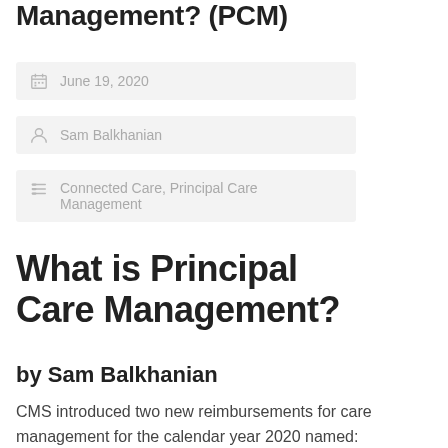Management? (PCM)
June 19, 2020
Sam Balkhanian
Connected Care, Principal Care Management
What is Principal Care Management?
by Sam Balkhanian
CMS introduced two new reimbursements for care management for the calendar year 2020 named: Principal Care